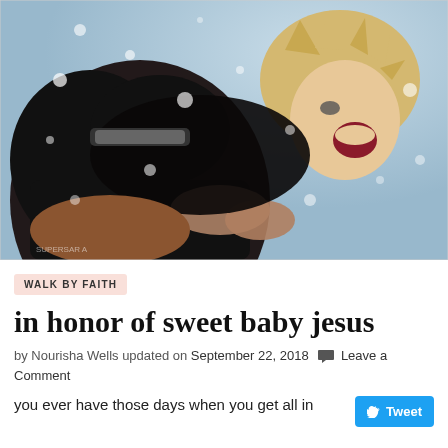[Figure (illustration): Anime illustration of two characters in a snowy scene. One character with blonde spiky hair is laughing/yelling, while another darker character is in the foreground. Snow particles are scattered throughout. The scene has a blue-grey sky background.]
WALK BY FAITH
in honor of sweet baby jesus
by Nourisha Wells updated on September 22, 2018  💬  Leave a Comment
you ever have those days when you get all in